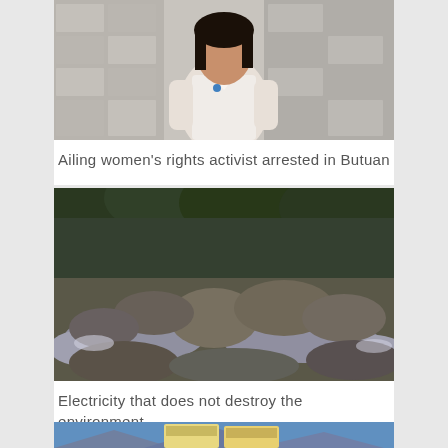[Figure (photo): A woman in a white short-sleeved shirt standing in front of a building with gray stone wall and columns]
Ailing women’s rights activist arrested in Butuan
[Figure (photo): Rocky river scene with large boulders and flowing water, surrounded by dense green forest]
Electricity that does not destroy the environment
[Figure (photo): Outdoor scene with signs visible, blue sky and mountains in background - partially visible]